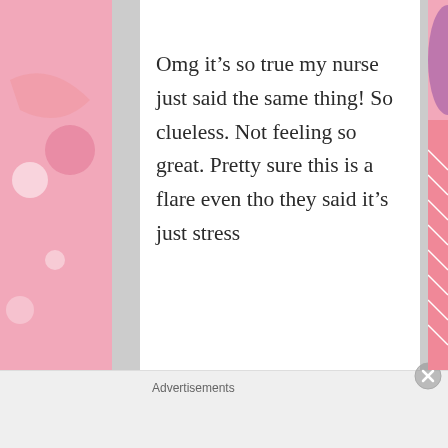Omg it's so true my nurse just said the same thing! So clueless. Not feeling so great. Pretty sure this is a flare even tho they said it's just stress
Advertisements